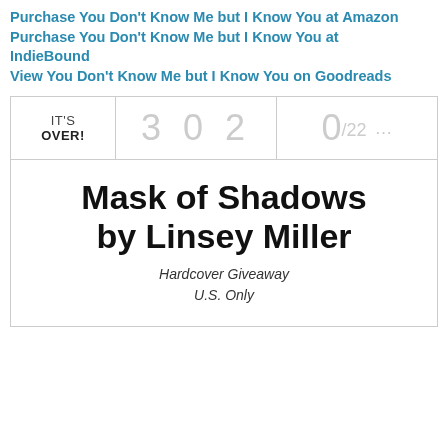Purchase You Don't Know Me but I Know You at Amazon
Purchase You Don't Know Me but I Know You at IndieBound
View You Don't Know Me but I Know You on Goodreads
[Figure (other): Giveaway widget showing IT'S OVER!, count 302, ratio 0/22, for Mask of Shadows by Linsey Miller Hardcover Giveaway U.S. Only]